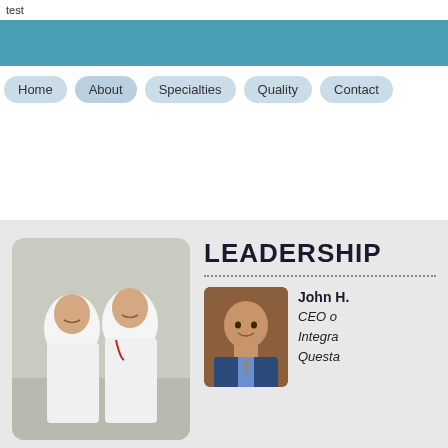test
Home
About
Specialties
Quality
Contact
[Figure (photo): Two doctors in white lab coats smiling in a hallway]
LEADERSHIP
[Figure (photo): Headshot of John H., a man in a suit smiling]
John H.
CEO of
Integra
Questa